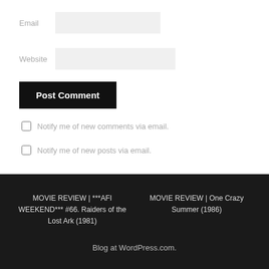Email
Website
Post Comment
Notify me of new comments via email.
Notify me of new posts via email.
MOVIE REVIEW | ***AFI WEEKEND*** #66. Raiders of the Lost Ark (1981)
MOVIE REVIEW | One Crazy Summer (1986)
Blog at WordPress.com.